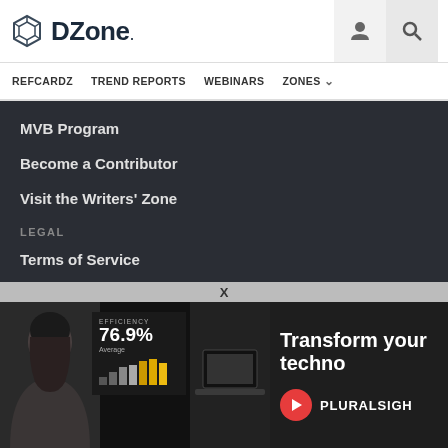DZone. [logo] [user icon] [search icon]
REFCARDZ  TREND REPORTS  WEBINARS  ZONES
MVB Program
Become a Contributor
Visit the Writers' Zone
LEGAL
Terms of Service
Privacy Policy
CONTACT US
600 Park Offices Drive
Su
Du
su
+1 (919) 678-0300
[Figure (screenshot): Advertisement overlay for Pluralsight showing a woman, efficiency stat of 76.9%, bar chart, laptop, and text 'Transform your techno...' with Pluralsight logo]